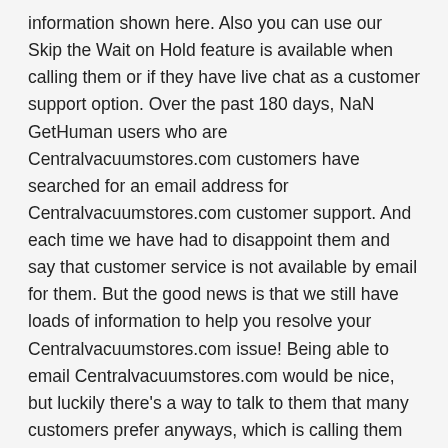information shown here. Also you can use our Skip the Wait on Hold feature is available when calling them or if they have live chat as a customer support option. Over the past 180 days, NaN GetHuman users who are Centralvacuumstores.com customers have searched for an email address for Centralvacuumstores.com customer support. And each time we have had to disappoint them and say that customer service is not available by email for them. But the good news is that we still have loads of information to help you resolve your Centralvacuumstores.com issue! Being able to email Centralvacuumstores.com would be nice, but luckily there's a way to talk to them that many customers prefer anyways, which is calling them at their 800-221-8227 customer phone number. The reason why customers try to send emails to